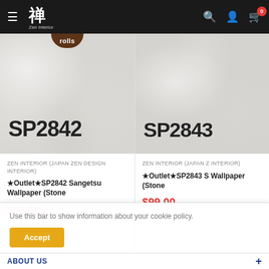[Figure (screenshot): E-commerce navigation bar with hamburger menu, Zen Interior logo in Japanese calligraphy, search icon, account icon, and cart icon with red badge showing 0]
[Figure (photo): Product image for SP2842 wallpaper with stone texture, white/light grey textured surface, product code SP2842 displayed in bold black text, brown badge showing 'rolls']
ZEN INTERIOR (JAPAN ZEN DESIGN INTERIOR)
★Outlet★SP2842 Sangetsu Wallpaper (Stone
$99.00
[Figure (photo): Product image for SP2843 wallpaper with stone texture, white/light grey textured surface, product code SP2843 displayed in bold black text (partially cropped)]
ZEN INTERIOR (JAPAN Z INTERIOR)
★Outlet★SP2843 S Wallpaper (Stone
$99.00
Use this bar to show information about your cookie policy.
Accept
ABOUT US